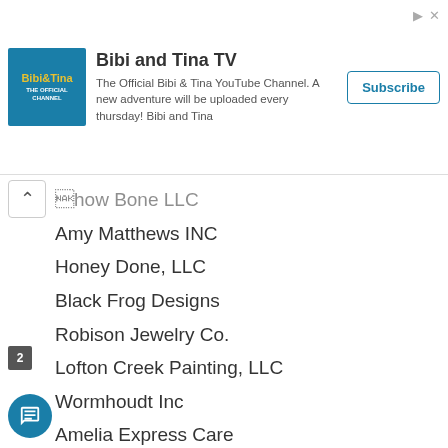[Figure (screenshot): Advertisement banner for Bibi and Tina TV YouTube channel with logo, description text, and Subscribe button]
Show Bone LLC
Amy Matthews INC
Honey Done, LLC
Black Frog Designs
Robison Jewelry Co.
Lofton Creek Painting, LLC
Wormhoudt Inc
Amelia Express Care
Front & Centre
R&E Design Group dba Lola Interiors
Bella Computer, Inc.
Matthew E. Nachbauer, LLC
Hawkins Inspections, LLC
Color It Green Inc.